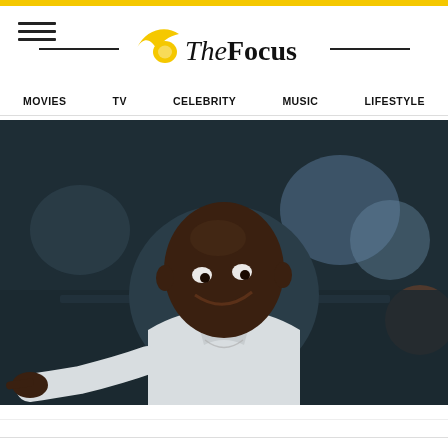The Focus — navigation header with logo and menu
[Figure (screenshot): Website header for TheFocus with yellow top bar, hamburger menu icon, TheFocus logo with wing icon, and navigation links: MOVIES, TV, CELEBRITY, MUSIC, LIFESTYLE]
[Figure (photo): A man in a white shirt pointing at the camera with a slight smile, photographed in a dark indoor setting with blurred blue and orange background lights.]